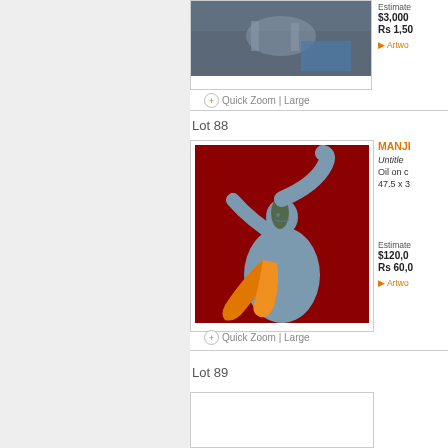[Figure (photo): Cropped painting showing figures with horse in muted blue-grey tones, top portion of artwork for an auction lot]
Estimate
$3,000
Rs 1,50
▶ Artwo
Quick Zoom | Large
Lot 88
[Figure (photo): Painting of a stylized blue female figure with outstretched arms pointing upward, wearing an orange sash/cloth, on a deep red background. Artist: Manjit (Bawa).]
MANJI
Untitle
Oil on c
47.5 x 3
Estimate
$120,0
Rs 60,0
▶ Artwo
Quick Zoom | Large
Lot 89